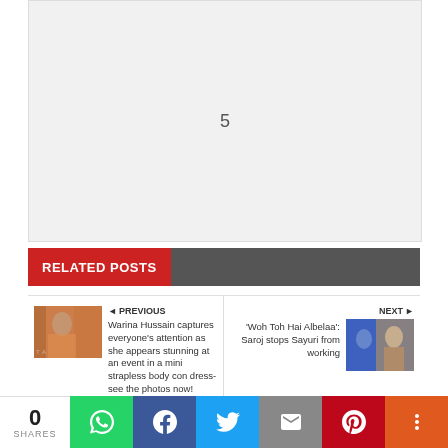[Figure (other): Gray placeholder box with number 5 in center]
RELATED POSTS
[Figure (photo): Thumbnail of Warina Hussain in orange dress]
◄ PREVIOUS
Warina Hussain captures everyone's attention as she appears stunning at an event in a mini strapless body con dress-see the photos now!
NEXT ► 'Woh Toh Hai Albelaa': Saroj stops Sayuri from working
[Figure (photo): Thumbnail of scene from Woh Toh Hai Albelaa]
0 SHARES | WhatsApp | Facebook | Twitter | Email | Pinterest | More